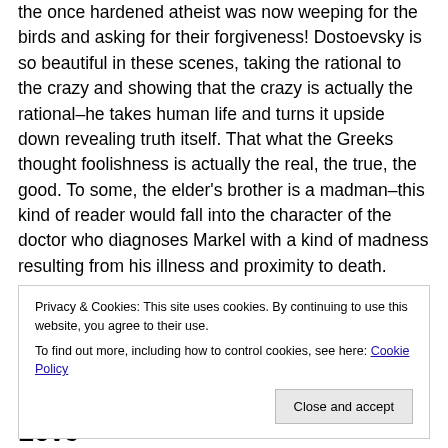the once hardened atheist was now weeping for the birds and asking for their forgiveness! Dostoevsky is so beautiful in these scenes, taking the rational to the crazy and showing that the crazy is actually the rational–he takes human life and turns it upside down revealing truth itself. That what the Greeks thought foolishness is actually the real, the true, the good. To some, the elder's brother is a madman–this kind of reader would fall into the character of the doctor who diagnoses Markel with a kind of madness resulting from his illness and proximity to death.
Privacy & Cookies: This site uses cookies. By continuing to use this website, you agree to their use. To find out more, including how to control cookies, see here: Cookie Policy
The Way From Erotic To Agape Love